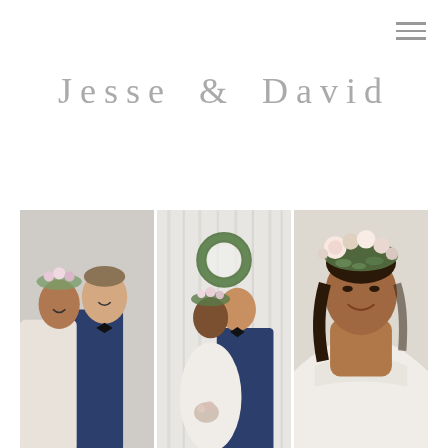[Figure (illustration): Hamburger menu icon (three horizontal lines) in top right corner]
Jesse & David
[Figure (photo): Three wedding photos side by side: left photo shows a smiling couple, the bride wearing a floral crown and the groom in a navy suit with bow tie; center photo shows the couple kissing in front of white draped fabric with a greenery wreath hanging behind them; right photo is a close-up of the bride with a large floral crown and strapless white gown.]